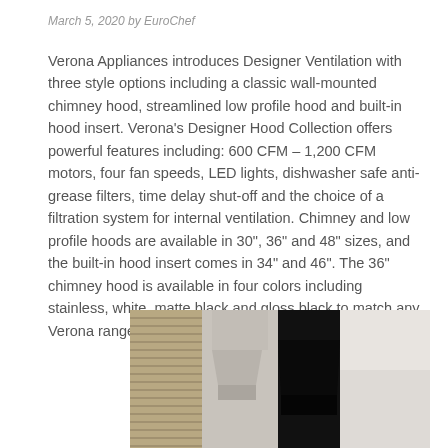March 5, 2020 by EuroChef
Verona Appliances introduces Designer Ventilation with three style options including a classic wall-mounted chimney hood, streamlined low profile hood and built-in hood insert. Verona's Designer Hood Collection offers powerful features including: 600 CFM – 1,200 CFM motors, four fan speeds, LED lights, dishwasher safe anti-grease filters, time delay shut-off and the choice of a filtration system for internal ventilation. Chimney and low profile hoods are available in 30", 36" and 48" sizes, and the built-in hood insert comes in 34" and 46". The 36" chimney hood is available in four colors including stainless, white, matte black and gloss black to match any Verona range.
[Figure (photo): Photo of a chimney hood appliance showing two side-by-side views: left side shows a stainless/wooden blind styled hood, right side shows a black chimney hood against a white wall.]